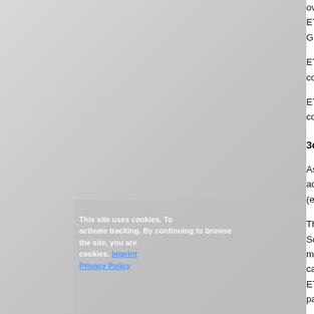over a lengthy period of time; hence, this dire... ETU Software GmbH uses your aforemention... GmbH only if you have not objected to this use...
ETU Software GmbH also ensures the lea... communication channels for advertising (post c...
ETU Software GmbH uses your data for any ... consent you have expressed by agreeing to thi...
3c. Advertising for and through third parties
As part of promotional contacts by ETU Softw... address to be able to provide you with produ... (e.g. entities of the Hottgenroth Group, busines...
This processing is justified by the prevailing i... Software GmbH has a legitimate interest in pr... marketing for products and services from third... can be enhanced by the transmission of adve... ETU Software GmbH, which leads to an incr... party.
Secondly, ETU Software GmbH has a financi... share advertising. As in the case of direct mark... not having your data used for these thirdparty... of the low level of nuisance caused by postal ... your data.
Based on your consent to this Privacy Policy, th... also directly offer you their own products and ... data covered by this consent (e.g. your contac... about complementary products.